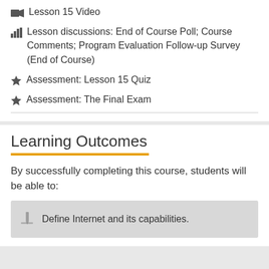Lesson 15 Video
Lesson discussions: End of Course Poll; Course Comments; Program Evaluation Follow-up Survey (End of Course)
Assessment: Lesson 15 Quiz
Assessment: The Final Exam
Learning Outcomes
By successfully completing this course, students will be able to:
Define Internet and its capabilities.